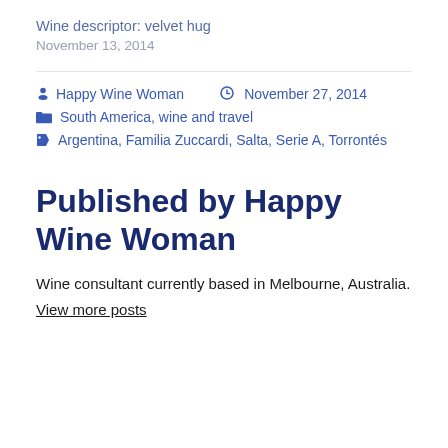Wine descriptor: velvet hug
November 13, 2014
Happy Wine Woman   November 27, 2014
South America, wine and travel
Argentina, Familia Zuccardi, Salta, Serie A, Torrontés
Published by Happy Wine Woman
Wine consultant currently based in Melbourne, Australia.
View more posts